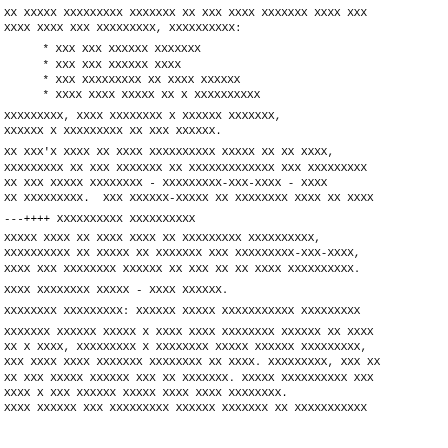XX XXXXX XXXXXXXXX XXXXXXX XX XXX XXXX XXXXXXX XXXX XXX
XXXX XXXX XXX XXXXXXXXX, XXXXXXXXXX:
* XXX XXX XXXXXX XXXXXXX
* XXX XXX XXXXXX XXXX
* XXX XXXXXXXXX XX XXXX XXXXXX
* XXXX XXXX XXXXX XX X XXXXXXXXXX
XXXXXXXXX, XXXX XXXXXXXX X XXXXXX XXXXXXX,
XXXXXX X XXXXXXXXX XX XXX XXXXXX.
XX XXX'X XXXX XX XXXX XXXXXXXXXX XXXXX XX XX XXXX,
XXXXXXXXX XX XXX XXXXXXX XX XXXXXXXXXXXXX XXX XXXXXXXXX
XX XXX XXXXX XXXXXXXX - XXXXXXXXX-XXX-XXXX - XXXX
XX XXXXXXXXX.  XXX XXXXXX-XXXXX XX XXXXXXXX XXXX XX XXXX
---++++ XXXXXXXXXX XXXXXXXXXX
XXXXX XXXX XX XXXX XXXX XX XXXXXXXXX XXXXXXXXXX,
XXXXXXXXXX XX XXXXX XX XXXXXXX XXX XXXXXXXXX-XXX-XXXX,
XXXX XXX XXXXXXXX XXXXXX XX XXX XX XX XXXX XXXXXXXXXX.
XXXX XXXXXXXX XXXXX - XXXX XXXXXX.
XXXXXXXX XXXXXXXXX: XXXXXX XXXXX XXXXXXXXXXX XXXXXXXXX
XXXXXXX XXXXXX XXXXX X XXXX XXXX XXXXXXXX XXXXXX XX XXXX
XX X XXXX, XXXXXXXXX X XXXXXXXX XXXXX XXXXXX XXXXXXXXX,
XXX XXXX XXXX XXXXXXX XXXXXXXX XX XXXX. XXXXXXXXX, XXX XX
XX XXX XXXXX XXXXXX XXX XX XXXXXXX. XXXXX XXXXXXXXXX XXX
XXXX X XXX XXXXXX XXXXX XXXX XXXX XXXXXXXX.
XXXX XXXXXX XXX XXXXXXXXX XXXXXX XXXXXXX XX XXXXXXXXXXX